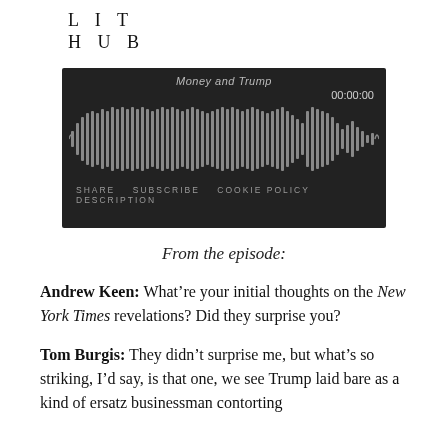LIT HUB
[Figure (screenshot): Audio player widget with dark background showing 'Money and Trump' episode title, waveform visualization, timer showing 00:00:00, and controls: SHARE, SUBSCRIBE, COOKIE POLICY, DESCRIPTION]
From the episode:
Andrew Keen: What’re your initial thoughts on the New York Times revelations? Did they surprise you?
Tom Burgis: They didn’t surprise me, but what’s so striking, I’d say, is that one, we see Trump laid bare as a kind of ersatz businessman contorting